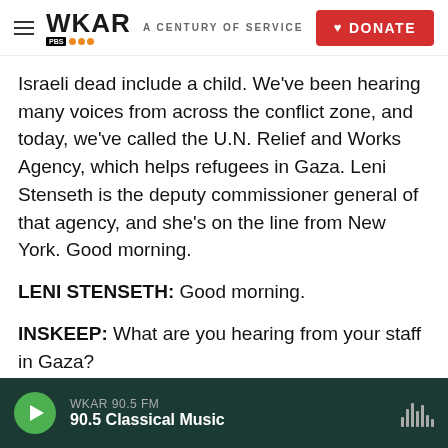WKAR A CENTURY OF SERVICE | DONATE
Israeli dead include a child. We've been hearing many voices from across the conflict zone, and today, we've called the U.N. Relief and Works Agency, which helps refugees in Gaza. Leni Stenseth is the deputy commissioner general of that agency, and she's on the line from New York. Good morning.
LENI STENSETH: Good morning.
INSKEEP: What are you hearing from your staff in Gaza?
STENSETH: The humanitarian situation in Gaza is
WKAR 90.5 FM — 90.5 Classical Music